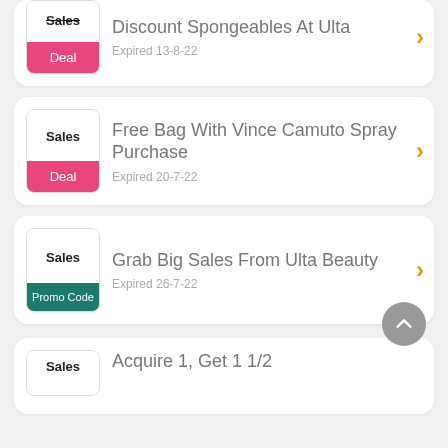Discount Spongeables At Ulta — Deal — Expired 13-8-22
Free Bag With Vince Camuto Spray Purchase — Deal — Expired 20-7-22
Grab Big Sales From Ulta Beauty — Promo Code — Expired 26-7-22
Acquire 1, Get 1 1/2 — Sales (partial)